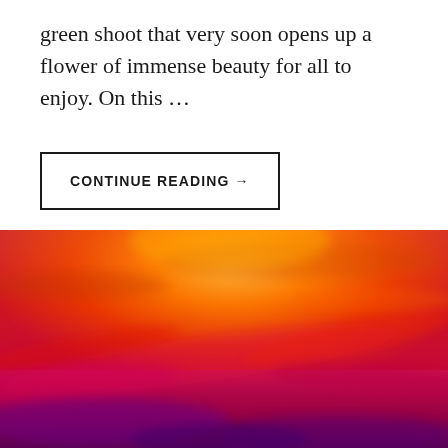green shoot that very soon opens up a flower of immense beauty for all to enjoy. On this …
CONTINUE READING →
[Figure (photo): A vivid sunset sky photograph with dramatic red, orange, and purple clouds filling the frame.]